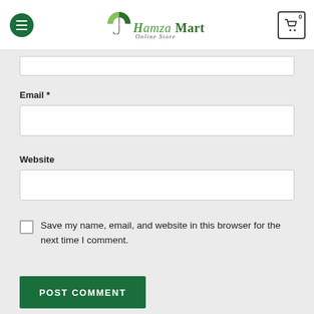[Figure (logo): Hamza Mart Online Store logo with green umbrella icon, menu hamburger button on left, shopping cart with 0 badge on right]
Email *
Website
Save my name, email, and website in this browser for the next time I comment.
POST COMMENT